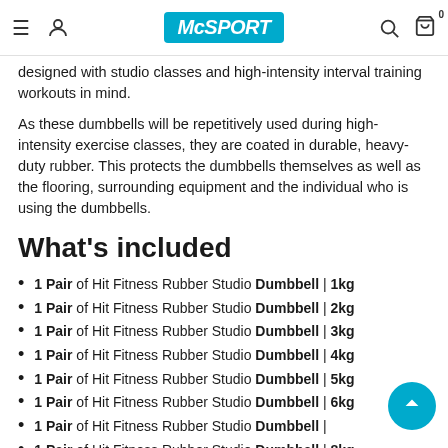McSPORT
designed with studio classes and high-intensity interval training workouts in mind.
As these dumbbells will be repetitively used during high-intensity exercise classes, they are coated in durable, heavy-duty rubber. This protects the dumbbells themselves as well as the flooring, surrounding equipment and the individual who is using the dumbbells.
What's included
1 Pair of Hit Fitness Rubber Studio Dumbbell | 1kg
1 Pair of Hit Fitness Rubber Studio Dumbbell | 2kg
1 Pair of Hit Fitness Rubber Studio Dumbbell | 3kg
1 Pair of Hit Fitness Rubber Studio Dumbbell | 4kg
1 Pair of Hit Fitness Rubber Studio Dumbbell | 5kg
1 Pair of Hit Fitness Rubber Studio Dumbbell | 6kg
1 Pair of Hit Fitness Rubber Studio Dumbbell | 7kg
1 Pair of Hit Fitness Rubber Studio Dumbbell | 8kg
1 Pair of Hit Fitness Rubber Studio Dumbbell | 9kg